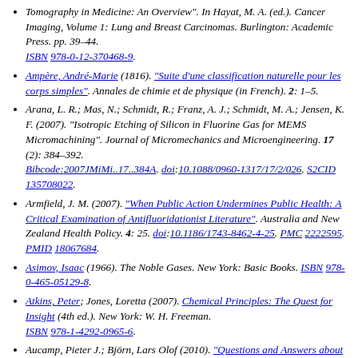Tomography in Medicine: An Overview". In Hayat, M. A. (ed.). Cancer Imaging, Volume 1: Lung and Breast Carcinomas. Burlington: Academic Press. pp. 39–44. ISBN 978-0-12-370468-9.
Ampère, André-Marie (1816). "Suite d'une classification naturelle pour les corps simples". Annales de chimie et de physique (in French). 2: 1–5.
Arana, L. R.; Mas, N.; Schmidt, R.; Franz, A. J.; Schmidt, M. A.; Jensen, K. F. (2007). "Isotropic Etching of Silicon in Fluorine Gas for MEMS Micromachining". Journal of Micromechanics and Microengineering. 17 (2): 384–392. Bibcode:2007JMiMi..17..384A. doi:10.1088/0960-1317/17/2/026. S2CID 135708022.
Armfield, J. M. (2007). "When Public Action Undermines Public Health: A Critical Examination of Antifluoridationist Literature". Australia and New Zealand Health Policy. 4: 25. doi:10.1186/1743-8462-4-25. PMC 2222595. PMID 18067684.
Asimov, Isaac (1966). The Noble Gases. New York: Basic Books. ISBN 978-0-465-05129-8.
Atkins, Peter; Jones, Loretta (2007). Chemical Principles: The Quest for Insight (4th ed.). New York: W. H. Freeman. ISBN 978-1-4292-0965-6.
Aucamp, Pieter J.; Björn, Lars Olof (2010). "Questions and Answers about the Environmental Effects of the Ozone Layer